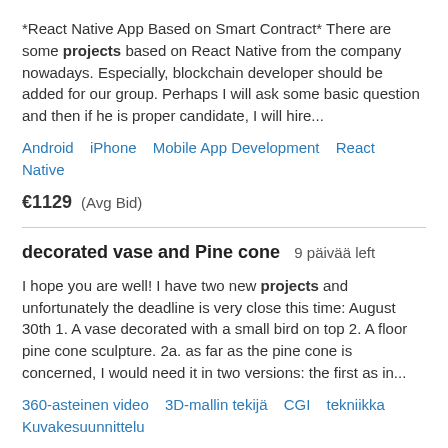*React Native App Based on Smart Contract* There are some projects based on React Native from the company nowadays. Especially, blockchain developer should be added for our group. Perhaps I will ask some basic question and then if he is proper candidate, I will hire...
Android   iPhone   Mobile App Development   React Native
€1129   (Avg Bid)
decorated vase and Pine cone   9 päivää left
I hope you are well! I have two new projects and unfortunately the deadline is very close this time: August 30th 1. A vase decorated with a small bird on top 2. A floor pine cone sculpture. 2a. as far as the pine cone is concerned, I would need it in two versions: the first as in...
360-asteinen video   3D-mallin tekijä   CGI   tekniikka   Kuvakesuunnittelu